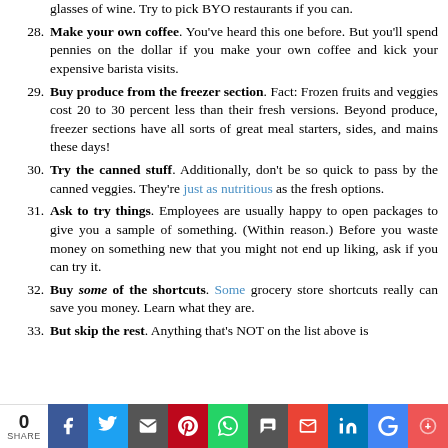glasses of wine. Try to pick BYO restaurants if you can.
28. Make your own coffee. You've heard this one before. But you'll spend pennies on the dollar if you make your own coffee and kick your expensive barista visits.
29. Buy produce from the freezer section. Fact: Frozen fruits and veggies cost 20 to 30 percent less than their fresh versions. Beyond produce, freezer sections have all sorts of great meal starters, sides, and mains these days!
30. Try the canned stuff. Additionally, don't be so quick to pass by the canned veggies. They're just as nutritious as the fresh options.
31. Ask to try things. Employees are usually happy to open packages to give you a sample of something. (Within reason.) Before you waste money on something new that you might not end up liking, ask if you can try it.
32. Buy some of the shortcuts. Some grocery store shortcuts really can save you money. Learn what they are.
33. But skip the rest. Anything that's NOT on the list above is